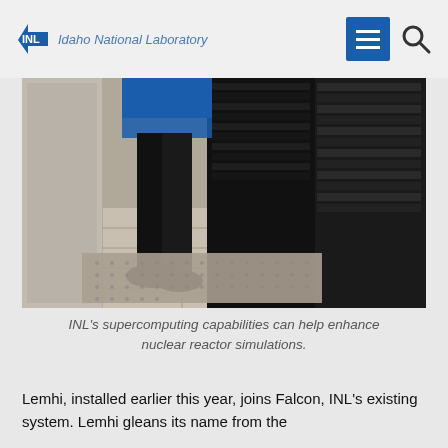INL Idaho National Laboratory
[Figure (photo): Person standing near supercomputer server racks in a data center, viewed from waist down showing legs and feet on perforated flooring with dark server cabinets in background.]
INL's supercomputing capabilities can help enhance nuclear reactor simulations.
Lemhi, installed earlier this year, joins Falcon, INL's existing system. Lemhi gleans its name from the